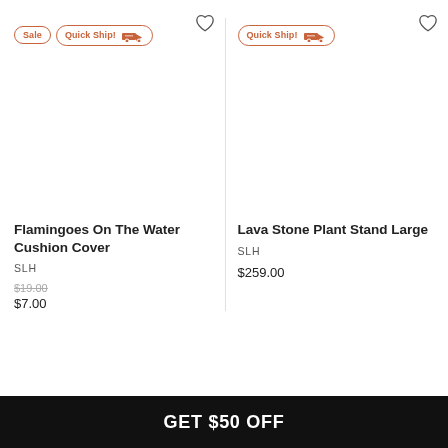[Figure (screenshot): Product listing card for Flamingoes On The Water Cushion Cover with Sale and Quick Ship badges, heart icon, blank product image, brand SLH, original price $19.00 struck through, sale price $7.00]
[Figure (screenshot): Product listing card for Lava Stone Plant Stand Large with Quick Ship badge, heart icon, blank product image, brand SLH, price $259.00]
GET $50 OFF